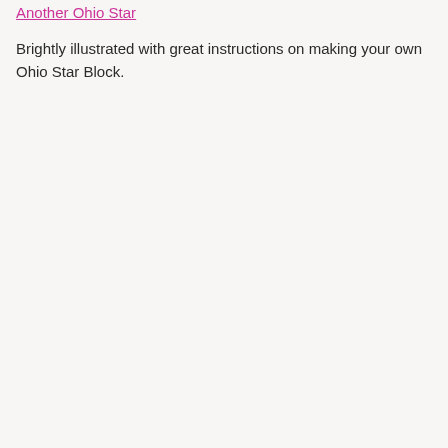Another Ohio Star
Brightly illustrated with great instructions on making your own Ohio Star Block.